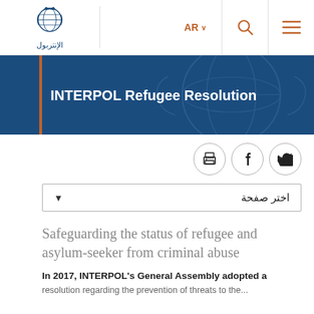AR ∨  [search icon]  [menu icon]  الإنتربول
INTERPOL Refugee Resolution
[Figure (screenshot): Social sharing icons: print, Facebook, Twitter in circular bordered buttons]
اختر صفحة (dropdown selector)
Safeguarding the status of refugee and asylum-seeker from criminal abuse
In 2017, INTERPOL's General Assembly adopted a resolution regarding the prevention of threats to the...